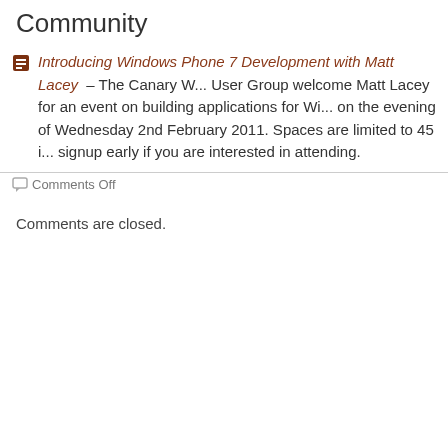Community
Introducing Windows Phone 7 Development with Matt Lacey – The Canary Wharf .NET User Group welcome Matt Lacey for an event on building applications for Windows Phone on the evening of Wednesday 2nd February 2011. Spaces are limited to 45 so please signup early if you are interested in attending.
Comments Off
Comments are closed.